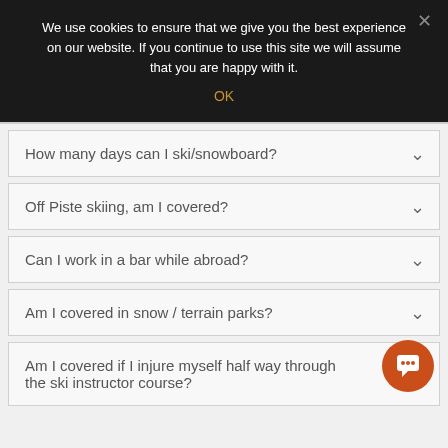We use cookies to ensure that we give you the best experience on our website. If you continue to use this site we will assume that you are happy with it.
OK
How many days can I ski/snowboard?
Off Piste skiing, am I covered?
Can I work in a bar while abroad?
Am I covered in snow / terrain parks?
Am I covered if I injure myself half way through the ski instructor course?